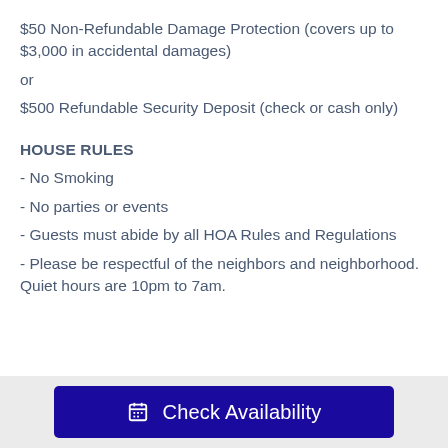$50 Non-Refundable Damage Protection (covers up to $3,000 in accidental damages)
or
$500 Refundable Security Deposit (check or cash only)
HOUSE RULES
- No Smoking
- No parties or events
- Guests must abide by all HOA Rules and Regulations
- Please be respectful of the neighbors and neighborhood. Quiet hours are 10pm to 7am.
Check Availability